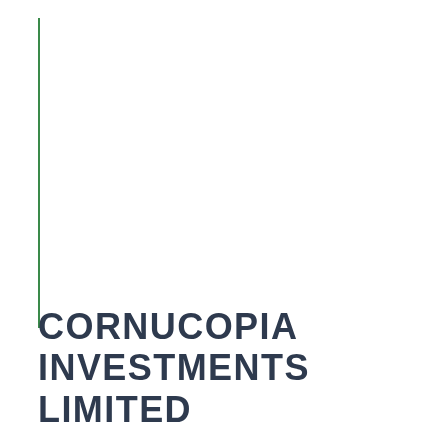[Figure (other): Vertical green line decorative element on the left side of the page]
CORNUCOPIA INVESTMENTS LIMITED